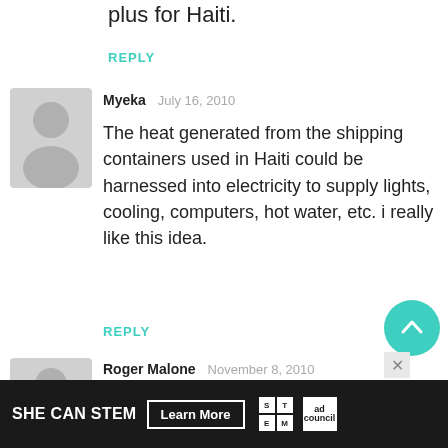plus for Haiti.
REPLY
[Figure (illustration): Gray avatar silhouette for user Myeka]
Myeka  July 16, 2010
The heat generated from the shipping containers used in Haiti could be harnessed into electricity to supply lights, cooling, computers, hot water, etc. i really like this idea.
REPLY
[Figure (illustration): Gray avatar silhouette for user Roger Malone]
Roger Malone  November 8, 2010
Dig a trench and bury the shipping
[Figure (infographic): SHE CAN STEM advertisement banner with Learn More button, STEM logo grid, and Ad Council logo]